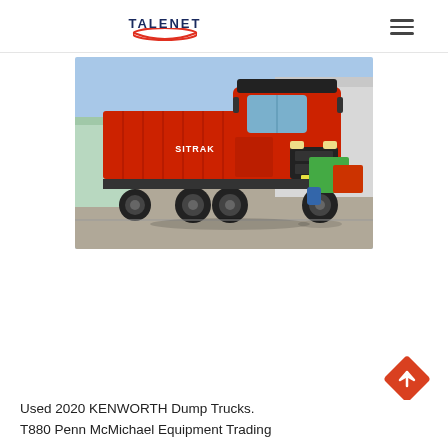TALENET
[Figure (photo): A red SITRAK dump truck parked in a yard, front-right view. Other trucks visible in the background along with a blue barrel and industrial buildings.]
Used 2020 KENWORTH Dump Trucks. T880 Penn McMichael Equipment Trading